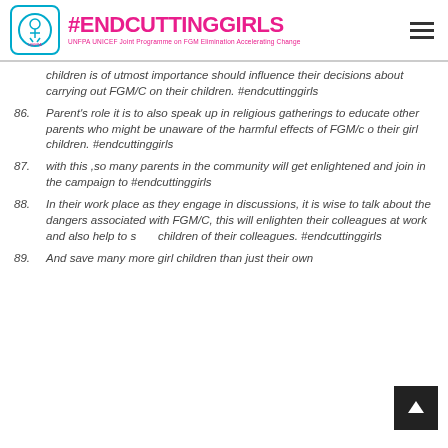#ENDCUTTINGGIRLS UNFPA UNICEF Joint Programme on FGM Elimination Accelerating Change
children is of utmost importance should influence their decisions about carrying out FGM/C on their children. #endcuttinggirls
86. Parent's role it is to also speak up in religious gatherings to educate other parents who might be unaware of the harmful effects of FGM/c o their girl children. #endcuttinggirls
87. with this ,so many parents in the community will get enlightened and join in the campaign to #endcuttinggirls
88. In their work place as they engage in discussions, it is wise to talk about the dangers associated with FGM/C, this will enlighten their colleagues at work and also help to s[ave] children of their colleagues. #endcuttinggirls
89. And save many more girl children than just their own